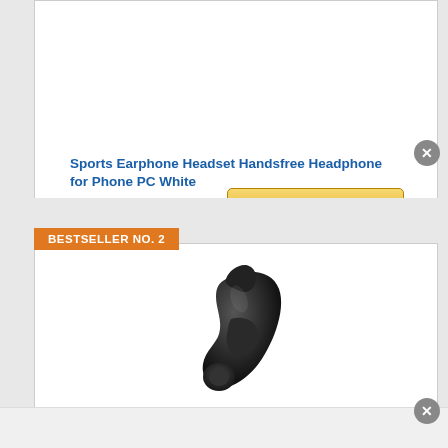Sports Earphone Headset Handsfree Headphone for Phone PC White
[Figure (other): Amazon 'View Product' button with Amazon logo]
BESTSELLER NO. 2
[Figure (photo): Black bluetooth earphone/earbud product photo on white background]